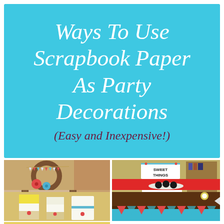Ways To Use Scrapbook Paper As Party Decorations (Easy and Inexpensive!)
[Figure (photo): A grapevine wreath decorated with a small pennant banner reading 'WELCOME' and paper flowers in red and blue, hanging on a door.]
[Figure (photo): A party dessert table with a sign reading 'SWEET THINGS' on a red tablecloth, with plates of cookies and small food label cards.]
[Figure (photo): Yellow and white candles wrapped with decorative scrapbook paper and red button embellishments.]
[Figure (photo): A brown table decorated with turquoise and red scrapbook paper bunting/banner hanging along the edge.]